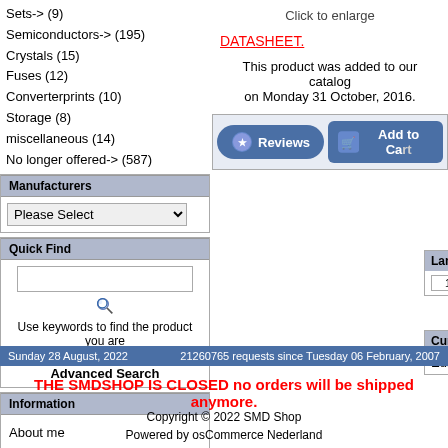Sets-> (9)
Semiconductors-> (195)
Crystals (15)
Fuses (12)
Converterprints (10)
Storage (8)
miscellaneous (14)
No longer offered-> (587)
Manufacturers
Quick Find
Use keywords to find the product you are looking for.
Advanced Search
Information
About me
Shipping & Returns
Privacy Notice
Conditions of Use
Contact Us
Click to enlarge
DATASHEET.
This product was added to our catalog on Monday 31 October, 2016.
Reviews
Add to Cart
Language
Currency
Euro
Sunday 28 August, 2022   21260765 requests since Tuesday 06 February, 2007
THE SMDSHOP IS CLOSED no orders will be shipped anymore.
Copyright © 2022 SMD Shop
Powered by osCommerce Nederland